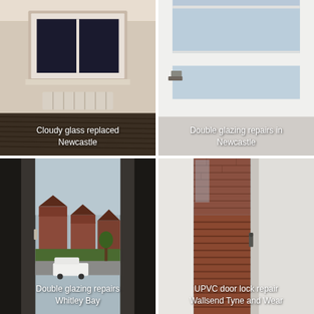[Figure (photo): Interior room photo showing a window with cloudy/replaced glass, radiator below, carpet floor visible. Newcastle.]
[Figure (photo): Close-up photo of white uPVC double glazed window frame showing repair area. Newcastle.]
[Figure (photo): Photo looking through dark-framed double glazed door/window showing residential street outside with houses, white van, and trees. Whitley Bay.]
[Figure (photo): Photo of white uPVC door partially open showing wooden decking outside and brick wall. UPVC door lock repair. Wallsend Tyne and Wear.]